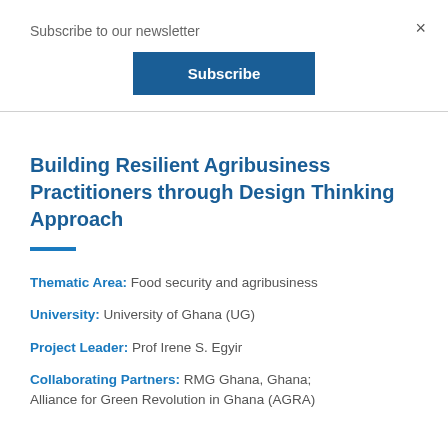Subscribe to our newsletter
Subscribe
Building Resilient Agribusiness Practitioners through Design Thinking Approach
Thematic Area: Food security and agribusiness
University: University of Ghana (UG)
Project Leader: Prof Irene S. Egyir
Collaborating Partners: RMG Ghana, Ghana; Alliance for Green Revolution in Ghana (AGRA)